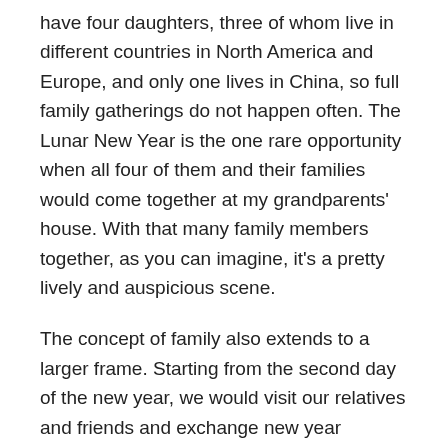have four daughters, three of whom live in different countries in North America and Europe, and only one lives in China, so full family gatherings do not happen often. The Lunar New Year is the one rare opportunity when all four of them and their families would come together at my grandparents' house. With that many family members together, as you can imagine, it's a pretty lively and auspicious scene.
The concept of family also extends to a larger frame. Starting from the second day of the new year, we would visit our relatives and friends and exchange new year blessings. We would as well receive guests who are visiting us. This custom strengthens familial bonds, thus bringing us a sense of unity.
Another important theme of the Lunar New Year is “Xiao,”